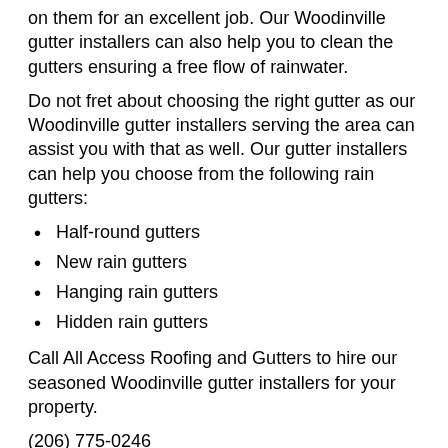on them for an excellent job. Our Woodinville gutter installers can also help you to clean the gutters ensuring a free flow of rainwater.
Do not fret about choosing the right gutter as our Woodinville gutter installers serving the area can assist you with that as well. Our gutter installers can help you choose from the following rain gutters:
Half-round gutters
New rain gutters
Hanging rain gutters
Hidden rain gutters
Call All Access Roofing and Gutters to hire our seasoned Woodinville gutter installers for your property.
(206) 775-0246
Gutters Installed Woodinville